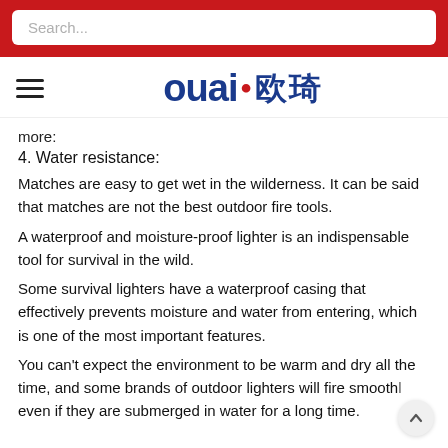Search...
[Figure (logo): OUAI·欧琦 brand logo with hamburger menu icon]
more:
4. Water resistance:
Matches are easy to get wet in the wilderness. It can be said that matches are not the best outdoor fire tools.
A waterproof and moisture-proof lighter is an indispensable tool for survival in the wild.
Some survival lighters have a waterproof casing that effectively prevents moisture and water from entering, which is one of the most important features.
You can't expect the environment to be warm and dry all the time, and some brands of outdoor lighters will fire smoothly even if they are submerged in water for a long time.